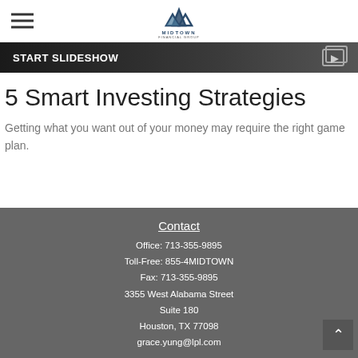[Figure (logo): Midtown Financial Group logo with mountain/M shape and text MIDTOWN FINANCIAL GROUP]
[Figure (screenshot): START SLIDESHOW banner with dark background and slideshow/play icon on the right]
5 Smart Investing Strategies
Getting what you want out of your money may require the right game plan.
Contact
Office: 713-355-9895
Toll-Free: 855-4MIDTOWN
Fax: 713-355-9895
3355 West Alabama Street
Suite 180
Houston, TX 77098
grace.yung@lpl.com